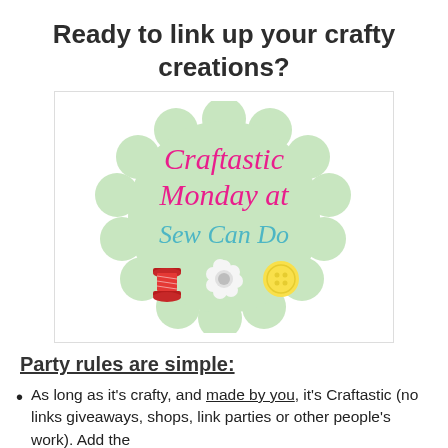Ready to link up your crafty creations?
[Figure (logo): Craftastic Monday at Sew Can Do logo — a scalloped mint green circle badge with pink cursive text 'Craftastic Monday at' and teal text 'Sew Can Do', with a red thread spool, white flower, and yellow button illustrated below the text]
Party rules are simple:
As long as it's crafty, and made by you, it's Craftastic (no links giveaways, shops, link parties or other people's work).  Add the